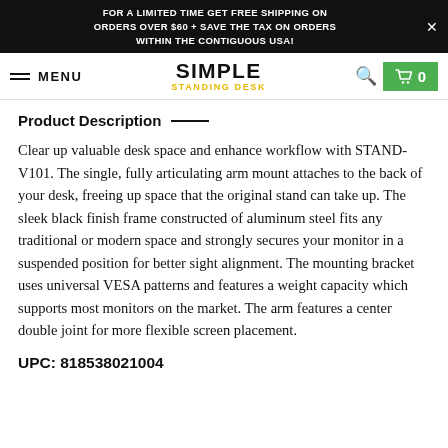FOR A LIMITED TIME GET FREE SHIPPING ON ORDERS OVER $60 + SAVE THE TAX ON ORDERS WITHIN THE CONTIGUOUS USA!
[Figure (logo): Simple Standing Desk logo with hamburger menu, MENU text, search icon, and green cart button showing 0]
Product Description—
Clear up valuable desk space and enhance workflow with STAND-V101. The single, fully articulating arm mount attaches to the back of your desk, freeing up space that the original stand can take up. The sleek black finish frame constructed of aluminum steel fits any traditional or modern space and strongly secures your monitor in a suspended position for better sight alignment. The mounting bracket uses universal VESA patterns and features a weight capacity which supports most monitors on the market. The arm features a center double joint for more flexible screen placement.
UPC: 818538021004